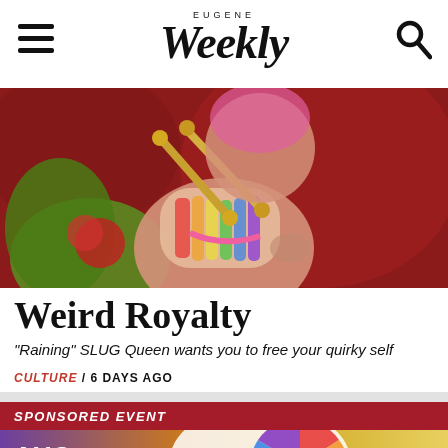EUGENE Weekly
[Figure (photo): Colorful performer in costume holding gold batons against red background, wearing rainbow body paint and pink necklace]
Weird Royalty
“Raining” SLUG Queen wants you to free your quirky self
CULTURE / 6 DAYS AGO
SPONSORED EVENT
[Figure (illustration): Colorful event banner showing AUG 26 text with rainbow wheel design and building illustration on gradient purple to yellow background]